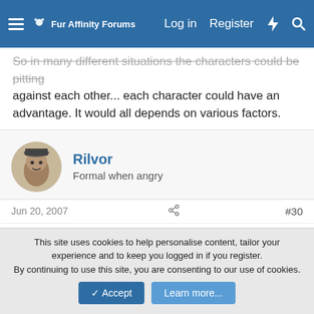Fur Affinity Forums  Log in  Register
So in many different situations the characters could be pitting against each other... each character could have an advantage. It would all depends on various factors.
Rilvor
Formal when angry
Jun 20, 2007  #30
I say Mr.Game&Watch would wtfpwn both of them, contest over *nodnod*
TundraWolfBlade
I'm a littile tied up atm
This site uses cookies to help personalise content, tailor your experience and to keep you logged in if you register.
By continuing to use this site, you are consenting to our use of cookies.